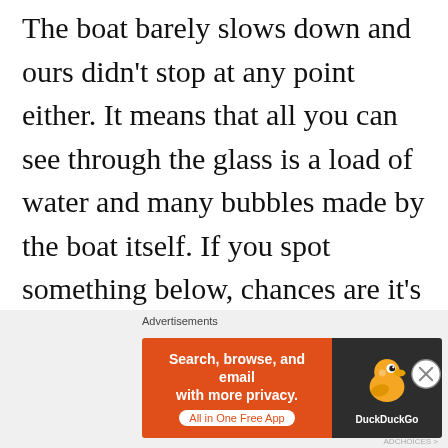The boat barely slows down and ours didn't stop at any point either. It means that all you can see through the glass is a load of water and many bubbles made by the boat itself. If you spot something below, chances are it's just a mark on the glass. The only positive to this was that it was a relaxed way to get some views across the bay and over at the coastline. My problem was that the whole point of
[Figure (other): DuckDuckGo advertisement banner with orange left side reading 'Search, browse, and email with more privacy. All in One Free App' and dark right side with DuckDuckGo duck logo]